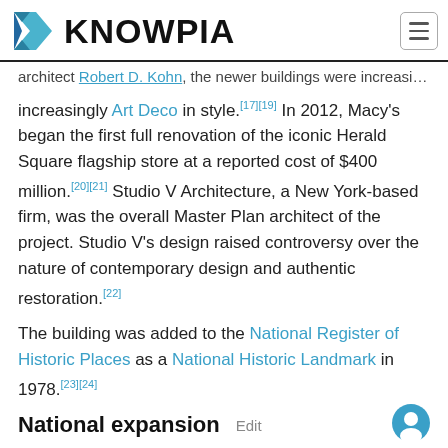KNOWPIA
architect Robert D. Kohn, the newer buildings were increasingly Art Deco in style.[17][19] In 2012, Macy's began the first full renovation of the iconic Herald Square flagship store at a reported cost of $400 million.[20][21] Studio V Architecture, a New York-based firm, was the overall Master Plan architect of the project. Studio V's design raised controversy over the nature of contemporary design and authentic restoration.[22]
The building was added to the National Register of Historic Places as a National Historic Landmark in 1978.[23][24]
National expansion
In the 1960s, Macy's